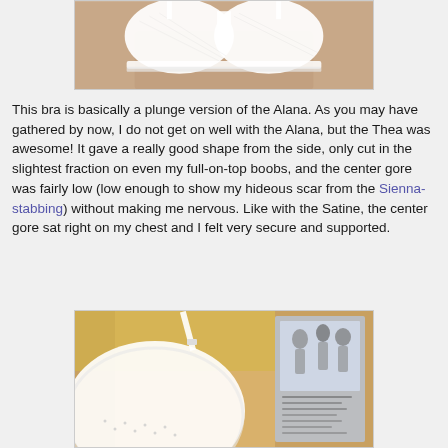[Figure (photo): Close-up photo of a white bra from the front, showing cups with mesh/lace texture, worn on a person, against a light background.]
This bra is basically a plunge version of the Alana. As you may have gathered by now, I do not get on well with the Alana, but the Thea was awesome! It gave a really good shape from the side, only cut in the slightest fraction on even my full-on-top boobs, and the center gore was fairly low (low enough to show my hideous scar from the Sienna-stabbing) without making me nervous. Like with the Satine, the center gore sat right on my chest and I felt very secure and supported.
[Figure (photo): Close-up photo of a white bra showing the side/gore area with lace trim detail. In the background, a packaging card or advertisement showing women in white clothing is visible.]